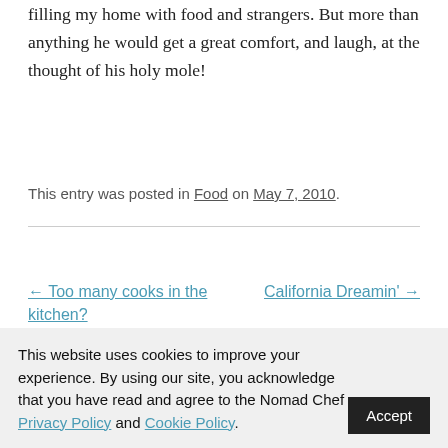filling my home with food and strangers. But more than anything he would get a great comfort, and laugh, at the thought of his holy mole!
This entry was posted in Food on May 7, 2010.
← Too many cooks in the kitchen?
California Dreamin' →
1 thought on “Holy mole!”
This website uses cookies to improve your experience. By using our site, you acknowledge that you have read and agree to the Nomad Chef Privacy Policy and Cookie Policy.